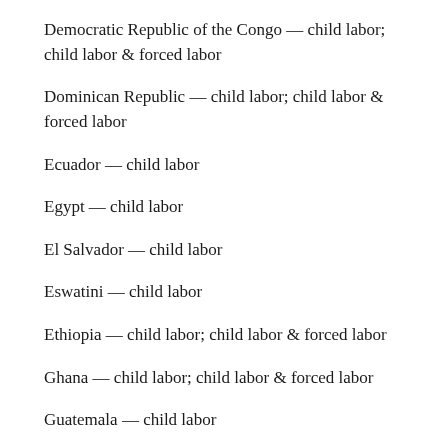Democratic Republic of the Congo — child labor; child labor & forced labor
Dominican Republic — child labor; child labor & forced labor
Ecuador — child labor
Egypt — child labor
El Salvador — child labor
Eswatini — child labor
Ethiopia — child labor; child labor & forced labor
Ghana — child labor; child labor & forced labor
Guatemala — child labor